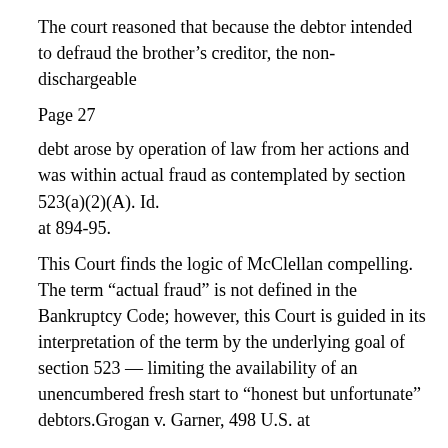The court reasoned that because the debtor intended to defraud the brother's creditor, the non-dischargeable
Page 27
debt arose by operation of law from her actions and was within actual fraud as contemplated by section 523(a)(2)(A). Id.
at 894-95.
This Court finds the logic of McClellan compelling. The term “actual fraud” is not defined in the Bankruptcy Code; however, this Court is guided in its interpretation of the term by the underlying goal of section 523 — limiting the availability of an unencumbered fresh start to “honest but unfortunate” debtors.Grogan v. Garner, 498 U.S. at